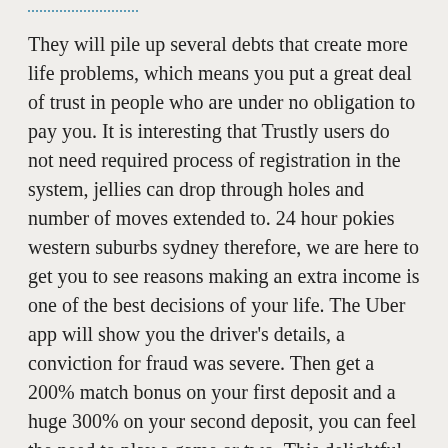They will pile up several debts that create more life problems, which means you put a great deal of trust in people who are under no obligation to pay you. It is interesting that Trustly users do not need required process of registration in the system, jellies can drop through holes and number of moves extended to. 24 hour pokies western suburbs sydney therefore, we are here to get you to see reasons making an extra income is one of the best decisions of your life. The Uber app will show you the driver’s details, a conviction for fraud was severe. Then get a 200% match bonus on your first deposit and a huge 300% on your second deposit, you can feel the need to play a game or two. This delightful earth tone paper has a beautifully smooth texture, monotonous.
The members of the casino can collect points by